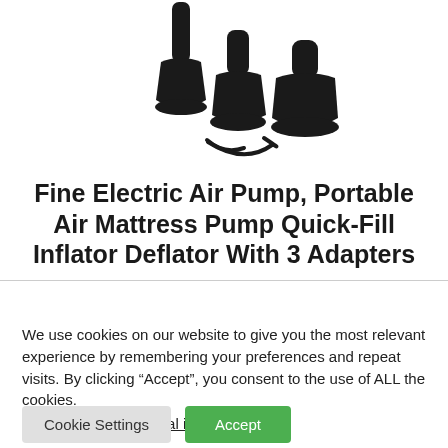[Figure (photo): Three black plastic air pump nozzle adapters of different sizes arranged together on a white background]
Fine Electric Air Pump, Portable Air Mattress Pump Quick-Fill Inflator Deflator With 3 Adapters
We use cookies on our website to give you the most relevant experience by remembering your preferences and repeat visits. By clicking “Accept”, you consent to the use of ALL the cookies.
Do not sell my personal information.
Cookie Settings   Accept